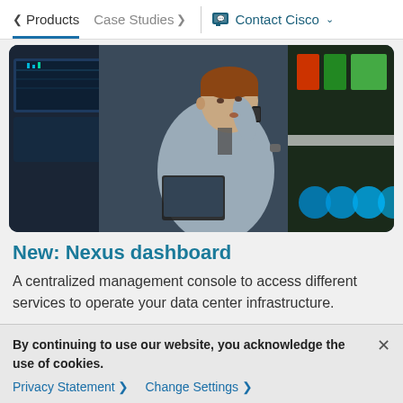< Products   Case Studies >   Contact Cisco v
[Figure (photo): A man in a grey shirt talking on a mobile phone in a data center or operations center environment with screens in the background]
New: Nexus dashboard
A centralized management console to access different services to operate your data center infrastructure.
View demo (6:53) >
By continuing to use our website, you acknowledge the use of cookies.
Privacy Statement >   Change Settings >